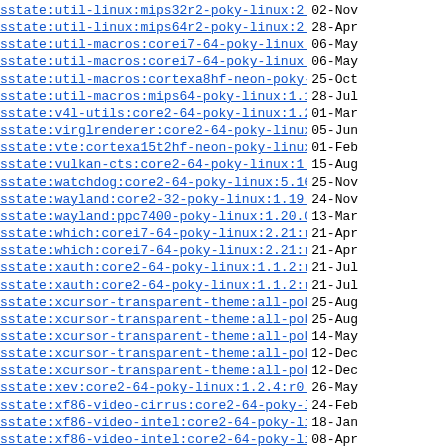sstate:util-linux:mips32r2-poky-linux:2.37.2:r0..> 02-Nov
sstate:util-linux:mips64r2-poky-linux:2.37.4:r0..> 28-Apr
sstate:util-macros:corei7-64-poky-linux:1.19.3:...> 06-May
sstate:util-macros:corei7-64-poky-linux:1.19.3:...> 06-May
sstate:util-macros:cortexa8hf-neon-poky-linux-g..> 25-Oct
sstate:util-macros:mips64-poky-linux:1.19.3:r0:...> 28-Jul
sstate:v4l-utils:core2-64-poky-linux:1.20.0:r0:...> 01-Mar
sstate:virglrenderer:core2-64-poky-linux:0.9.1:...> 05-Jun
sstate:vte:cortexa15t2hf-neon-poky-linux-gnueab..> 01-Feb
sstate:vulkan-cts:core2-64-poky-linux:1.2.6.0:r..> 15-Aug
sstate:watchdog:core2-64-poky-linux:5.16:r1:cor..> 25-Nov
sstate:wayland:core2-32-poky-linux:1.19.0:r0:co..> 24-Nov
sstate:wayland:ppc7400-poky-linux:1.20.0:r0:ppc..> 13-Mar
sstate:which:corei7-64-poky-linux:2.21:r3:corei...> 21-Apr
sstate:which:corei7-64-poky-linux:2.21:r3:corei...> 21-Apr
sstate:xauth:core2-64-poky-linux:1.1.2:r0:core2...> 21-Jul
sstate:xauth:core2-64-poky-linux:1.1.2:r0:core2...> 21-Jul
sstate:xcursor-transparent-theme:all-poky-linux...> 25-Aug
sstate:xcursor-transparent-theme:all-poky-linux...> 25-Aug
sstate:xcursor-transparent-theme:all-poky-linux...> 14-May
sstate:xcursor-transparent-theme:all-poky-linux...> 12-Dec
sstate:xcursor-transparent-theme:all-poky-linux...> 12-Dec
sstate:xev:core2-64-poky-linux:1.2.4:r0:core2-6..> 26-May
sstate:xf86-video-cirrus:core2-64-poky-linux:1...> 24-Feb
sstate:xf86-video-intel:core2-64-poky-linux:2.9...> 18-Jan
sstate:xf86-video-intel:core2-64-poky-linux:2.9...> 08-Apr
sstate:xinit:core2-64-poky-linux:1.4.1:r0:core2...> 05-Feb
sstate:xinput-calibrator:core2-64-poky-linux:0...> 06-Feb
sstate:xinput-calibrator:core2-64-poky-linux:0...> 06-Feb
sstate:xkbcomp:cortexa15t2hf-neon-poky-linux-gn..> 20-Nov